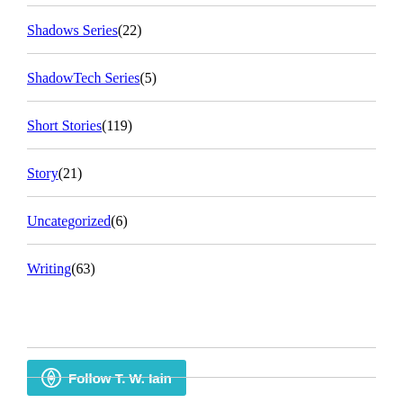Shadows Series (22)
ShadowTech Series (5)
Short Stories (119)
Story (21)
Uncategorized (6)
Writing (63)
[Figure (other): WordPress Follow button: Follow T. W. Iain]